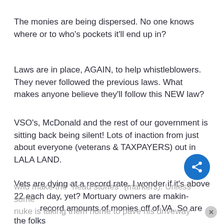The monies are being dispersed. No one knows where or to who's pockets it'll end up in?
Laws are in place, AGAIN, to help whistleblowers. They never followed the previous laws. What makes anyone believe they'll follow this NEW law?
VSO's, McDonald and the rest of our government is sitting back being silent! Lots of inaction from just about everyone (veterans & TAXPAYERS) out in LALA LAND.
Vets are dying at a record rate. I wonder if it's above 22 each day, yet? Mortuary owners are making record amounts of monies off of VA. So are the folks
who make the "head stones" (markers). Unless some nuke is taking them home to pave his driveway